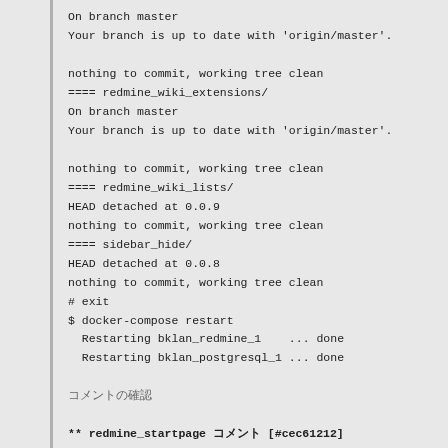On branch master
Your branch is up to date with 'origin/master'.

nothing to commit, working tree clean
==== redmine_wiki_extensions/
On branch master
Your branch is up to date with 'origin/master'.

nothing to commit, working tree clean
==== redmine_wiki_lists/
HEAD detached at 0.0.9
nothing to commit, working tree clean
==== sidebar_hide/
HEAD detached at 0.0.8
nothing to commit, working tree clean
# exit
$ docker-compose restart
  Restarting bklan_redmine_1    ... done
  Restarting bklan_postgresql_1 ... done

コメントの確認

** redmine_startpage コメント [#cec61212]